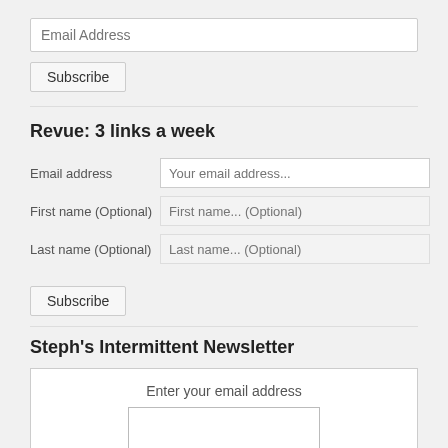Email Address
Subscribe
Revue: 3 links a week
Email address   Your email address...
First name (Optional)   First name... (Optional)
Last name (Optional)   Last name... (Optional)
Subscribe
Steph's Intermittent Newsletter
Enter your email address
Subscribe
powered by TinyLetter